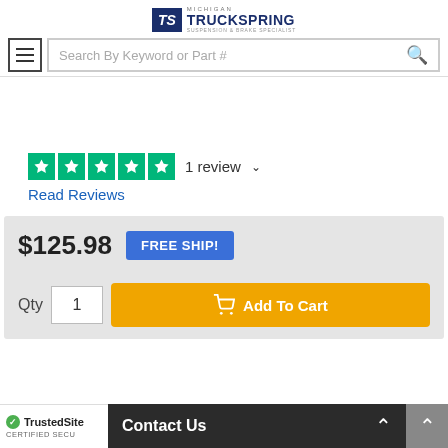[Figure (logo): Michigan TruckSpring suspension & brake specialist logo with TS emblem]
[Figure (screenshot): Search bar with hamburger menu icon and search button]
[Figure (other): Five green Trustpilot stars rating widget showing 1 review]
1 review
Read Reviews
$125.98
FREE SHIP!
Qty  1  Add To Cart
TrustedSite CERTIFIED SECU
Contact Us